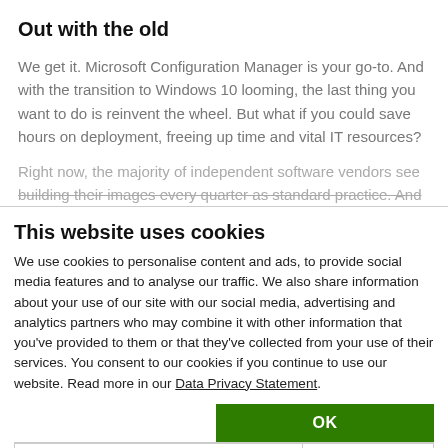Out with the old
We get it. Microsoft Configuration Manager is your go-to. And with the transition to Windows 10 looming, the last thing you want to do is reinvent the wheel. But what if you could save hours on deployment, freeing up time and vital IT resources?
Right now, the majority of independent software vendors see building their images every quarter as standard practice. And
This website uses cookies
We use cookies to personalise content and ads, to provide social media features and to analyse our traffic. We also share information about your use of our site with our social media, advertising and analytics partners who may combine it with other information that you've provided to them or that they've collected from your use of their services. You consent to our cookies if you continue to use our website. Read more in our Data Privacy Statement.
OK
Necessary  Preferences  Statistics  Marketing  Show details